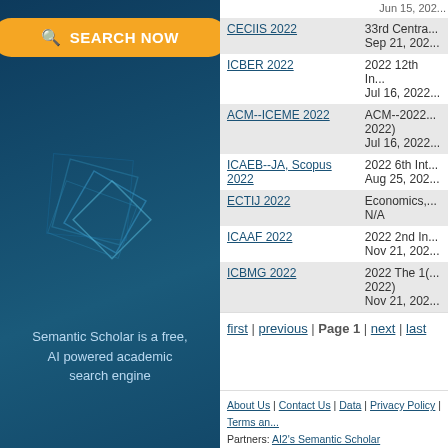[Figure (screenshot): Left panel with orange 'SEARCH NOW' button, blue geometric diamond graphic, and tagline 'Semantic Scholar is a free, AI powered academic search engine' on dark teal background]
| Conference | Details |
| --- | --- |
| CECIIS 2022 | 33rd Centra...
Sep 21, 202... |
| ICBER 2022 | 2022 12th In...
Jul 16, 2022... |
| ACM--ICEME 2022 | ACM--2022... 2022)
Jul 16, 2022... |
| ICAEB--JA, Scopus 2022 | 2022 6th Int...
Aug 25, 202... |
| ECTIJ 2022 | Economics,...
N/A |
| ICAAF 2022 | 2022 2nd In...
Nov 21, 202... |
| ICBMG 2022 | 2022 The 1(...
2022)
Nov 21, 202... |
first | previous | Page 1 | next | last
About Us | Contact Us | Data | Privacy Policy | Terms an... Partners: AI2's Semantic Scholar This wiki is licensed under a Creative Commons Attribu...